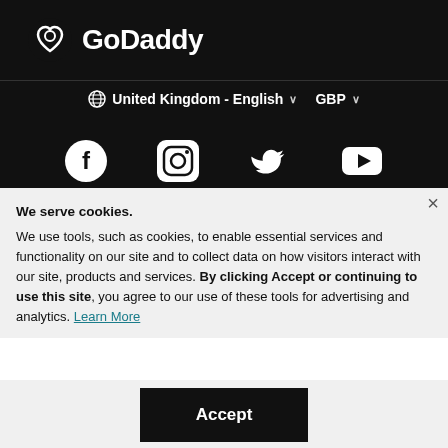[Figure (logo): GoDaddy logo: white circular heart/infinity icon followed by 'GoDaddy' text in white bold font on black background]
⊕ United Kingdom - English ∨   GBP ∨
[Figure (illustration): Social media icons: Facebook, Instagram, Twitter, YouTube — white on black background]
We serve cookies. We use tools, such as cookies, to enable essential services and functionality on our site and to collect data on how visitors interact with our site, products and services. By clicking Accept or continuing to use this site, you agree to our use of these tools for advertising and analytics. Learn More
Accept
Decline
Manage Settings